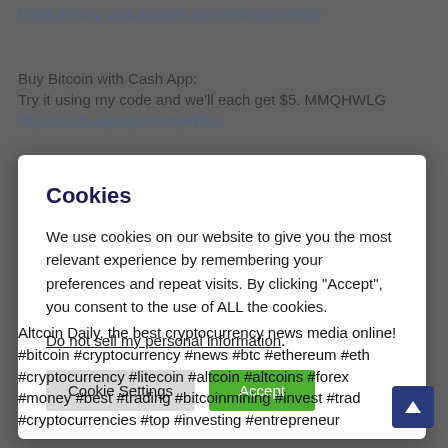https://www.swanbitcoin.com/aarontarnold/
Buy Bitcoin with Cash App:
Try it using my code and we'll each get $5. MMQHWLG
https://cash.app/app/MMQHWLG
Cookies
We use cookies on our website to give you the most relevant experience by remembering your preferences and repeat visits. By clicking “Accept”, you consent to the use of ALL the cookies.
Do not sell my personal information.
Cookie Settings   Accept
Altcoin Daily, the best cryptocurrency news media online!
#bitcoin #cryptocurrency #news #btc #ethereum #eth
#cryptocurrency #litecoin #altcoin #altcoins #forex
#money #best #trading #bitcoinmining #invest #trad
#cryptocurrencies #top #investing #entrepreneur